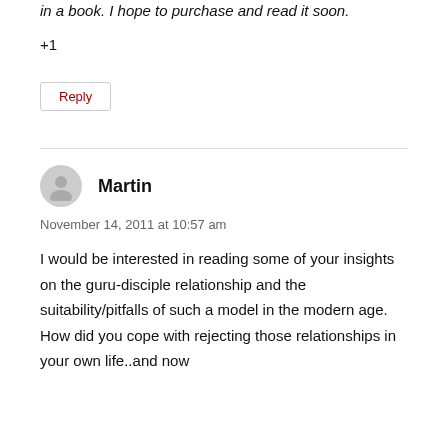in a book. I hope to purchase and read it soon.
+1
Reply
Martin
November 14, 2011 at 10:57 am
I would be interested in reading some of your insights on the guru-disciple relationship and the suitability/pitfalls of such a model in the modern age. How did you cope with rejecting those relationships in your own life..and now